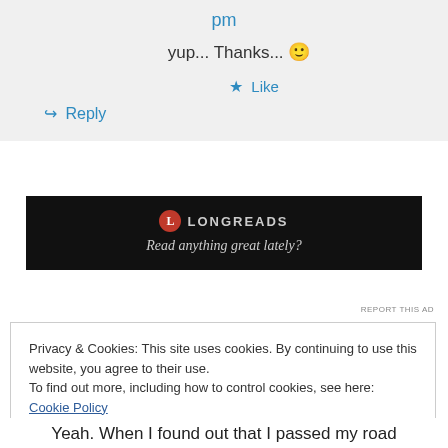pm
yup... Thanks... 🙂
★ Like
↪ Reply
[Figure (other): Longreads advertisement banner: logo with text LONGREADS and tagline 'Read anything great lately?']
REPORT THIS AD
Privacy & Cookies: This site uses cookies. By continuing to use this website, you agree to their use.
To find out more, including how to control cookies, see here: Cookie Policy
Close and accept
Yeah. When I found out that I passed my road